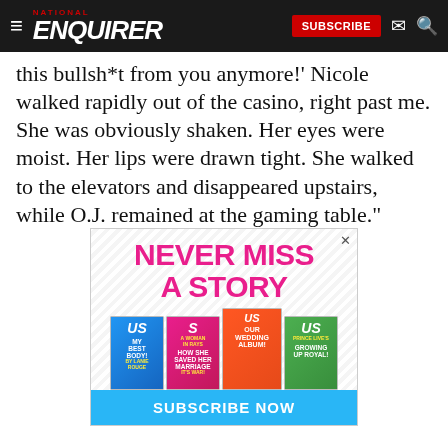NATIONAL ENQUIRER — SUBSCRIBE
this bullsh*t from you anymore!' Nicole walked rapidly out of the casino, right past me. She was obviously shaken. Her eyes were moist. Her lips were drawn tight. She walked to the elevators and disappeared upstairs, while O.J. remained at the gaming table."
[Figure (advertisement): Never Miss A Story — US Weekly subscription ad with magazine covers and Subscribe Now button]